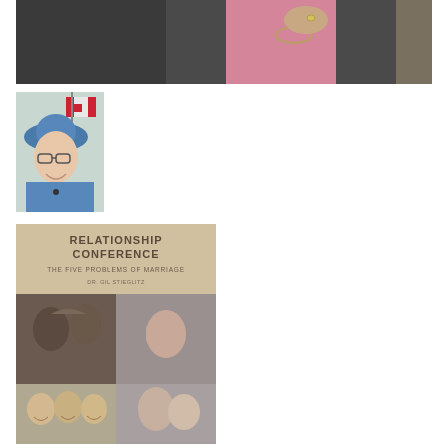[Figure (photo): Cropped photo of two people in dark blazers, one person in a pink shirt with necklace, another person's hand visible on their shoulder/chest area]
[Figure (photo): Photo of an older woman wearing a blue hat and glasses, smiling, with a Canadian flag visible in the background]
[Figure (photo): Book/DVD cover for 'Relationship Conference: The Five Problems of Marriage' by Dr. Gil Stieglitz, showing collage of couples and families in black and white photos]